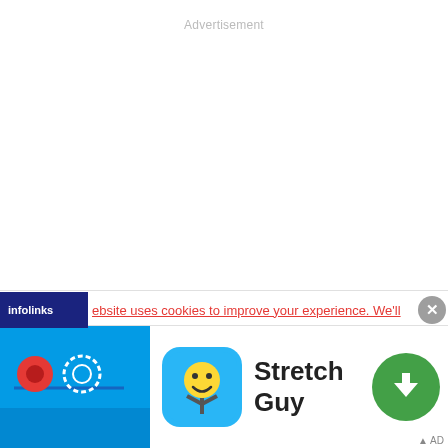Advertisement
Previous article
Next article
Heart rate monitors for Strava: Compatible devices to track your workouts
Redmi Note 9 Pro 5G is officially Released: Snapdragon 750G, Starting at
ebsite uses cookies to improve your experience. We'll
[Figure (screenshot): App advertisement banner for 'Stretch Guy' showing game icon and download button, with infolinks cookie notice overlay]